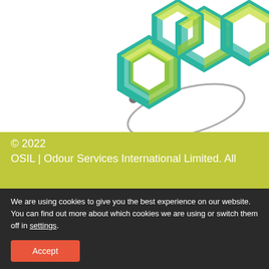[Figure (logo): OSIL company logo: multiple 3D hexagonal shapes in teal, green, and yellow-green arranged in a cluster, with a grey orbital ring around one hexagon]
© 2022
OSIL | Odour Services International Limited. All
We are using cookies to give you the best experience on our website.
You can find out more about which cookies we are using or switch them off in settings.
Accept